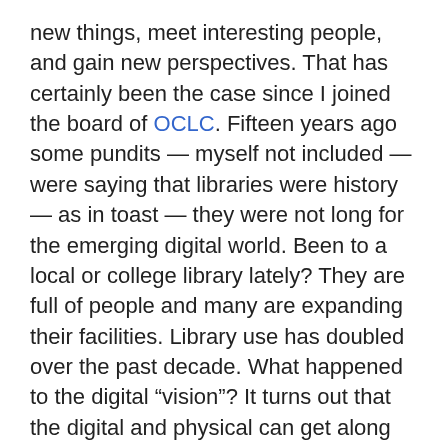new things, meet interesting people, and gain new perspectives. That has certainly been the case since I joined the board of OCLC. Fifteen years ago some pundits — myself not included — were saying that libraries were history — as in toast — they were not long for the emerging digital world. Been to a local or college library lately? They are full of people and many are expanding their facilities. Library use has doubled over the past decade. What happened to the digital “vision”? It turns out that the digital and physical can get along together quite well.
The month after I graduated from Lehigh University in 1967, OCLC — Online Computer Library Center, Inc. — was founded in Dublin, Ohio as a nonprofit, membership, computer library service and research organization dedicated to the public purpose of furthering access to the